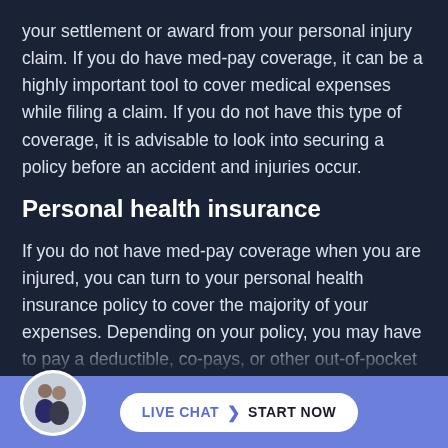your settlement or award from your personal injury claim. If you do have med-pay coverage, it can be a highly important tool to cover medical expenses while filing a claim. If you do not have this type of coverage, it is advisable to look into securing a policy before an accident and injuries occur.
Personal health insurance
If you do not have med-pay coverage when you are injured, you can turn to your personal health insurance policy to cover the majority of your expenses. Depending on your policy, you may have to pay a deductible, co-pays, or other out-of-pocket expenses for your treatment. You can get compensated for these out of...